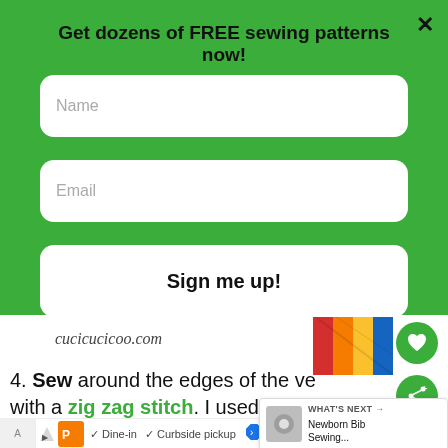Get dozens of FREE sewing patterns now!
Name
Email
Sign me up!
cucicucicoo.com
4. Sew around the edges of the ve with a zig zag stitch. I used a 3.0 stitch width and 1.5 stitch leng
WHAT'S NEXT → Newborn Bib Sewing...
✓ Dine-in  ✓ Curbside pickup